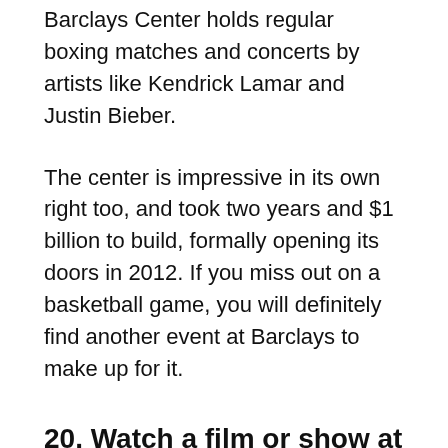Barclays Center holds regular boxing matches and concerts by artists like Kendrick Lamar and Justin Bieber.
The center is impressive in its own right too, and took two years and $1 billion to build, formally opening its doors in 2012. If you miss out on a basketball game, you will definitely find another event at Barclays to make up for it.
20. Watch a film or show at the Brooklyn Academy of Music
Speaking of films, the Brooklyn Academy of Music is also part of BAM, the community arts initiative that runs the Harvey Theater. The Academy of Music runs film